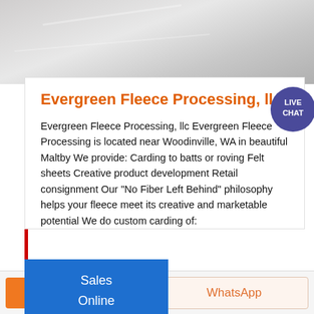[Figure (photo): Top portion of a webpage showing a marble or tile floor texture in grey tones]
Evergreen Fleece Processing, llc
Evergreen Fleece Processing, llc Evergreen Fleece Processing is located near Woodinville, WA in beautiful Maltby We provide: Carding to batts or roving Felt sheets Creative product development Retail consignment Our “No Fiber Left Behind” philosophy helps your fleece meet its creative and marketable potential We do custom carding of:
Sales
Online
Get a Quote
WhatsApp